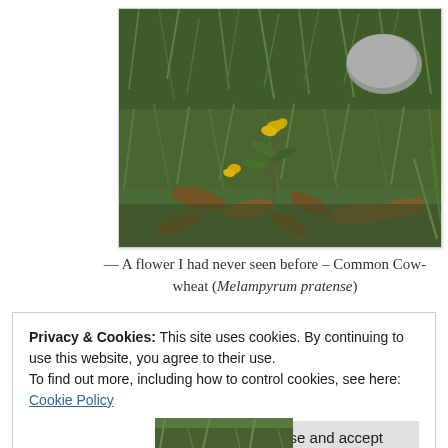[Figure (photo): Photograph of Common Cow-wheat (Melampyrum pratense) plant with small yellow flowers growing among green grass and dried brown leaves on the ground, with a grey rock visible in the upper right.]
— A flower I had never seen before – Common Cow-wheat (Melampyrum pratense)
Privacy & Cookies: This site uses cookies. By continuing to use this website, you agree to their use.
To find out more, including how to control cookies, see here: Cookie Policy
[Figure (photo): Partial view of another outdoor nature photograph visible at the bottom of the page, showing green vegetation.]